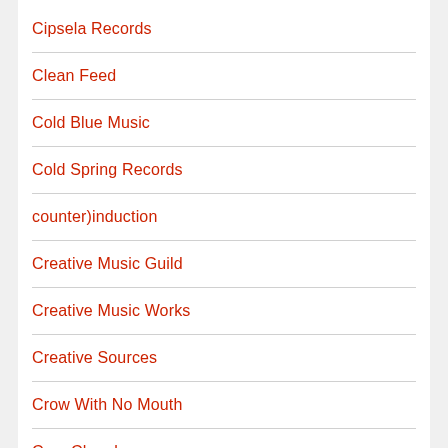Cipsela Records
Clean Feed
Cold Blue Music
Cold Spring Records
counter)induction
Creative Music Guild
Creative Music Works
Creative Sources
Crow With No Mouth
Cryo Chamber
Cryptogramophone